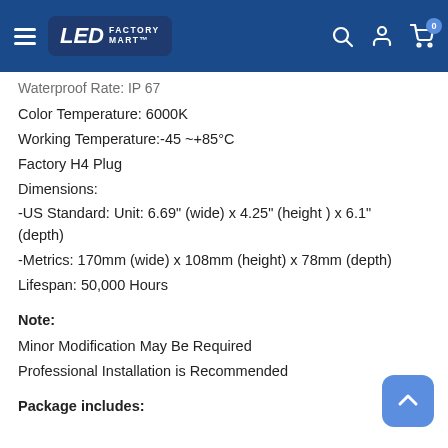LED FACTORY MART
Waterproof Rate: IP 67
Color Temperature: 6000K
Working Temperature:-45 ~+85°C
Factory H4 Plug
Dimensions:
-US Standard: Unit: 6.69" (wide) x 4.25" (height ) x 6.1" (depth)
-Metrics: 170mm (wide) x 108mm (height) x 78mm (depth)
Lifespan: 50,000 Hours
Note:
Minor Modification May Be Required
Professional Installation is Recommended
Package includes: